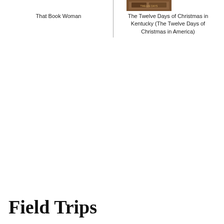That Book Woman
[Figure (photo): Book cover thumbnail for The Twelve Days of Christmas in Kentucky]
The Twelve Days of Christmas in Kentucky (The Twelve Days of Christmas in America)
Field Trips